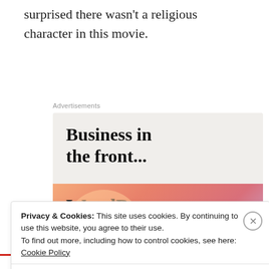surprised there wasn't a religious character in this movie.
[Figure (screenshot): WordPress advertisement banner. Top section on light gray background reads 'Business in the front...' in bold serif font. Bottom section on orange/peach gradient background with decorative circular blobs reads 'WordPress in the back.' in bold serif font.]
Privacy & Cookies: This site uses cookies. By continuing to use this website, you agree to their use.
To find out more, including how to control cookies, see here: Cookie Policy
Close and accept